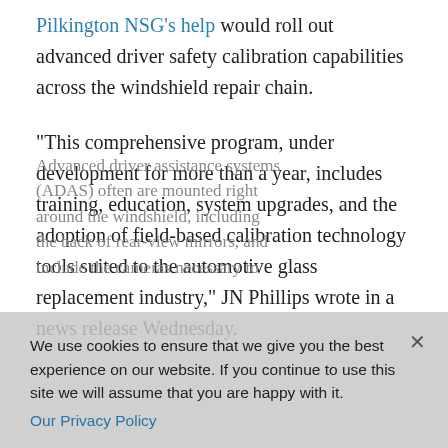Pilkington NSG's help would roll out advanced driver safety calibration capabilities across the windshield repair chain.
“This comprehensive program, under development for more than a year, includes training, education, system upgrades, and the adoption of field-based calibration technology tools suited to the automotive glass replacement industry,” JN Phillips wrote in a news release Wednesday.
Advanced driver assistance systems (ADAS) often are mounted right around the windshield, including the back of rear-view mirrors, and include the cameras necessary to
We use cookies to ensure that we give you the best experience on our website. If you continue to use this site we will assume that you are happy with it.
Our Privacy Policy